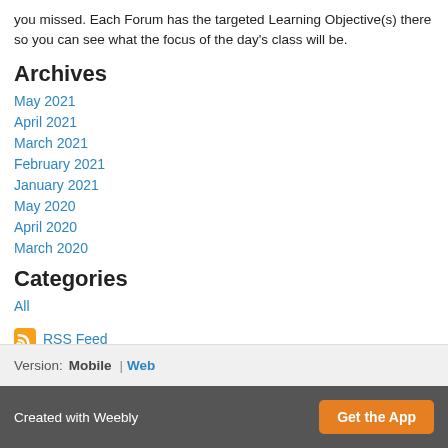you missed. Each Forum has the targeted Learning Objective(s) there so you can see what the focus of the day's class will be.
Archives
May 2021
April 2021
March 2021
February 2021
January 2021
May 2020
April 2020
March 2020
Categories
All
RSS Feed
Version: Mobile | Web
Created with Weebly  Get the App